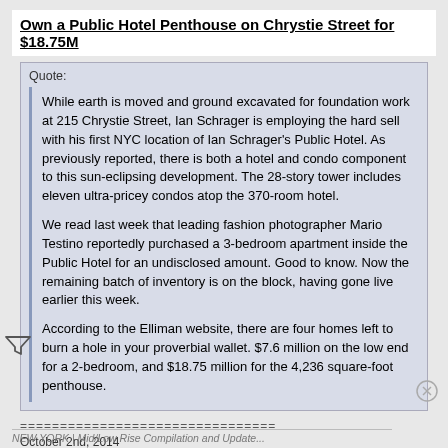Own a Public Hotel Penthouse on Chrystie Street for $18.75M
Quote:
While earth is moved and ground excavated for foundation work at 215 Chrystie Street, Ian Schrager is employing the hard sell with his first NYC location of Ian Schrager's Public Hotel. As previously reported, there is both a hotel and condo component to this sun-eclipsing development. The 28-story tower includes eleven ultra-pricey condos atop the 370-room hotel.
We read last week that leading fashion photographer Mario Testino reportedly purchased a 3-bedroom apartment inside the Public Hotel for an undisclosed amount. Good to know. Now the remaining batch of inventory is on the block, having gone live earlier this week.
According to the Elliman website, there are four homes left to burn a hole in your proverbial wallet. $7.6 million on the low end for a 2-bedroom, and $18.75 million for the 4,236 square-foot penthouse.
================================
October 2nd, 2014
http://www.bowerybogie.com/2014/10/...-street-18-75m/
NEW YORK | Mid/Low Rise Compilation and Update...